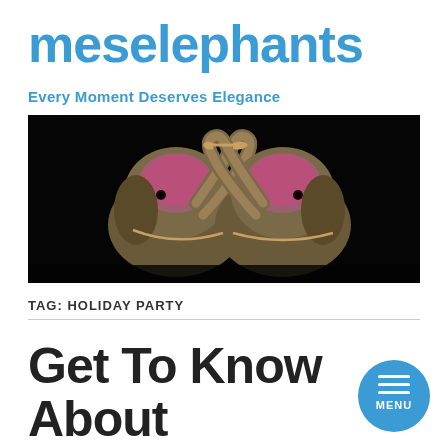meselephants
Every Moment Deserves Elegance
[Figure (photo): Two bejeweled elephant figurines facing each other on a dark background, decorated with pink/red gemstones on their heads and trunks raised]
TAG: HOLIDAY PARTY
Get To Know About Marriage Catering